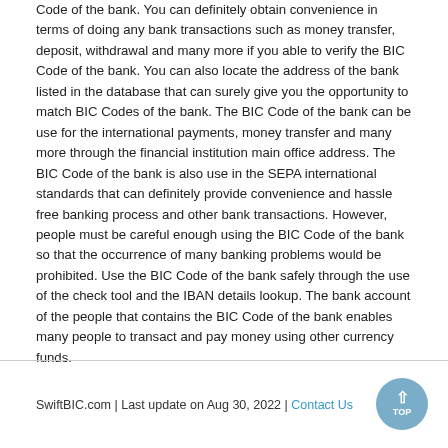Code of the bank. You can definitely obtain convenience in terms of doing any bank transactions such as money transfer, deposit, withdrawal and many more if you able to verify the BIC Code of the bank. You can also locate the address of the bank listed in the database that can surely give you the opportunity to match BIC Codes of the bank. The BIC Code of the bank can be use for the international payments, money transfer and many more through the financial institution main office address. The BIC Code of the bank is also use in the SEPA international standards that can definitely provide convenience and hassle free banking process and other bank transactions. However, people must be careful enough using the BIC Code of the bank so that the occurrence of many banking problems would be prohibited. Use the BIC Code of the bank safely through the use of the check tool and the IBAN details lookup. The bank account of the people that contains the BIC Code of the bank enables many people to transact and pay money using other currency funds.
SwiftBIC.com | Last update on Aug 30, 2022 | Contact Us